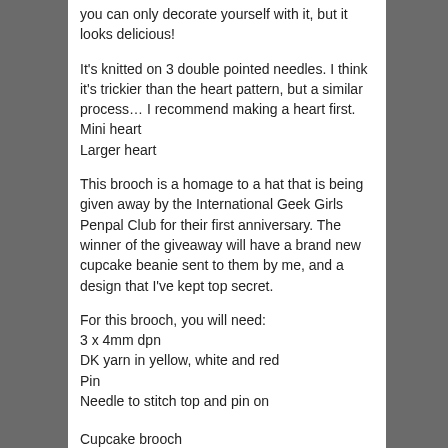you can only decorate yourself with it, but it looks delicious!
It's knitted on 3 double pointed needles. I think it's trickier than the heart pattern, but a similar process… I recommend making a heart first.
Mini heart
Larger heart
This brooch is a homage to a hat that is being given away by the International Geek Girls Penpal Club for their first anniversary. The winner of the giveaway will have a brand new cupcake beanie sent to them by me, and a design that I've kept top secret.
For this brooch, you will need:
3 x 4mm dpn
DK yarn in yellow, white and red
Pin
Needle to stitch top and pin on
Cupcake brooch